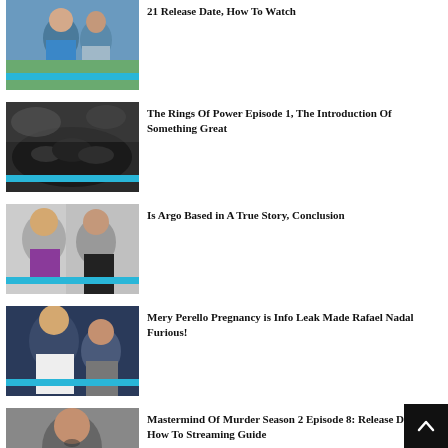[Figure (photo): Two people outdoors, man in blue shirt and woman in striped shirt with sunglasses]
21 Release Date, How To Watch
[Figure (photo): Dark pile of rocks or coal with misty background]
The Rings Of Power Episode 1, The Introduction Of Something Great
[Figure (photo): Two men, one older with gray beard and glasses, one younger in dark suit]
Is Argo Based in A True Story, Conclusion
[Figure (photo): Man and woman at what appears to be a sporting event]
Mery Perello Pregnancy is Info Leak Made Rafael Nadal Furious!
[Figure (photo): Person with glasses looking downward]
Mastermind Of Murder Season 2 Episode 8: Release Date and How To Streaming Guide